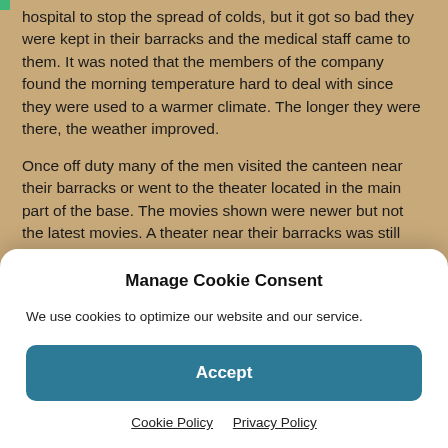hospital to stop the spread of colds, but it got so bad they were kept in their barracks and the medical staff came to them. It was noted that the members of the company found the morning temperature hard to deal with since they were used to a warmer climate. The longer they were there, the weather improved.
Once off duty many of the men visited the canteen near their barracks or went to the theater located in the main part of the base. The movies shown were newer but not the latest movies. A theater near their barracks was still being built, but when it was finished they only had to walk
Manage Cookie Consent
We use cookies to optimize our website and our service.
Accept
Cookie Policy   Privacy Policy